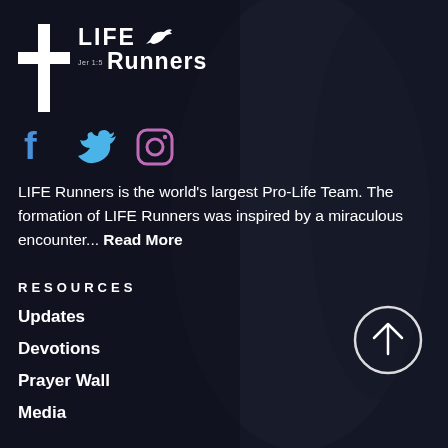[Figure (logo): LIFE Runners logo with white cross and dove icon, text reading LIFE Runners with Jer 1:5 reference]
[Figure (infographic): Social media icons: Facebook (blue f), Twitter (blue bird), Instagram (purple/pink camera)]
LIFE Runners is the world's largest Pro-Life Team. The formation of LIFE Runners was inspired by a miraculous encounter... Read More
RESOURCES
Updates
Devotions
Prayer Wall
Media